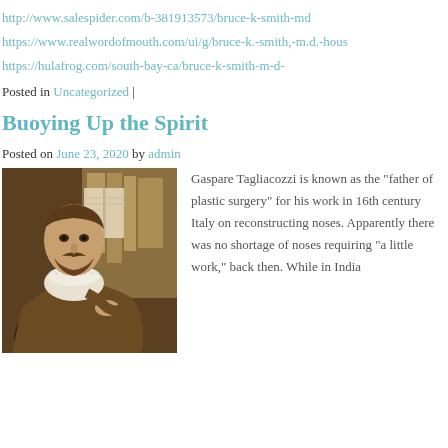http://www.salespider.com/b-381913573/bruce-k-smith-md
https://www.realwordofmouth.com/ui/g/bruce-k.-smith,-m.d.-hous
https://hulafrog.com/south-bay-ca/bruce-k-smith-m-d-
Posted in Uncategorized |
Buoying Up the Spirit
Posted on June 23, 2020 by admin
[Figure (photo): Portrait painting of Gaspare Tagliacozzi, a bearded man in 16th century Italian clothing with a white ruffled collar, holding an open book with other books in the background.]
Gaspare Tagliacozzi is known as the “father of plastic surgery” for his work in 16th century Italy on reconstructing noses. Apparently there was no shortage of noses requiring “a little work,” back then. While in India